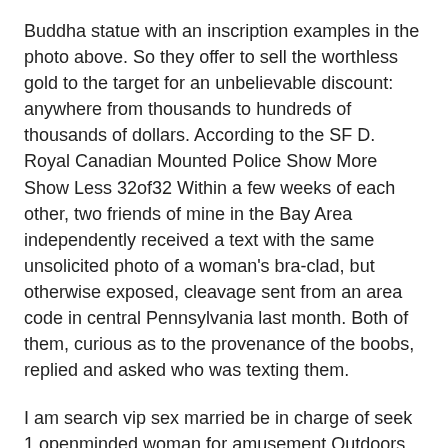Buddha statue with an inscription examples in the photo above. So they offer to sell the worthless gold to the target for an unbelievable discount: anywhere from thousands to hundreds of thousands of dollars. According to the SF D. Royal Canadian Mounted Police Show More Show Less 32of32 Within a few weeks of each other, two friends of mine in the Bay Area independently received a text with the same unsolicited photo of a woman's bra-clad, but otherwise exposed, cleavage sent from an area code in central Pennsylvania last month. Both of them, curious as to the provenance of the boobs, replied and asked who was texting them.
I am search vip sex married be in charge of seek 1 openminded woman for amusement Outdoors TV Guy looking for friends. Looking for short x ' x or less petite woman m x w I am looking for a petite woman between the age of x - x for some NSA fun. Ethnicity doesn't matter I am open to any race. I am looking to meet up Monday dark some point after midnight. Put your age as the